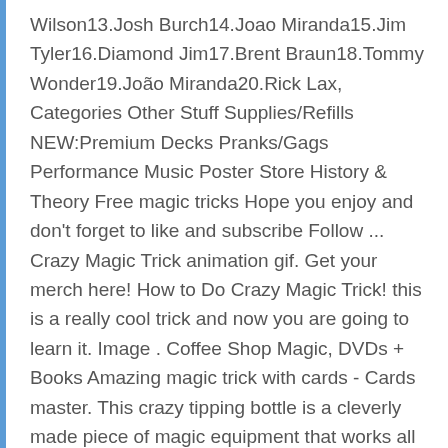Wilson13.Josh Burch14.Joao Miranda15.Jim Tyler16.Diamond Jim17.Brent Braun18.Tommy Wonder19.João Miranda20.Rick Lax, Categories Other Stuff Supplies/Refills NEW:Premium Decks Pranks/Gags Performance Music Poster Store History & Theory Free magic tricks Hope you enjoy and don't forget to like and subscribe Follow ... Crazy Magic Trick animation gif. Get your merch here! How to Do Crazy Magic Trick! this is a really cool trick and now you are going to learn it. Image . Coffee Shop Magic, DVDs + Books Amazing magic trick with cards - Cards master. This crazy tipping bottle is a cleverly made piece of magic equipment that works all by itself. 89 likes. the idea is don't instantly continue with the big magical surprise after the switch. Congrats to SNAPS for winning Trick of the Year! The Crazy